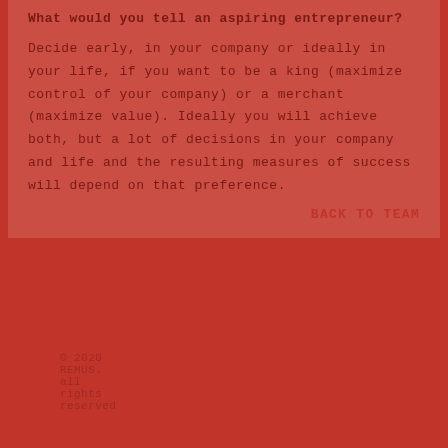What would you tell an aspiring entrepreneur?
Decide early, in your company or ideally in your life, if you want to be a king (maximize control of your company) or a merchant (maximize value). Ideally you will achieve both, but a lot of decisions in your company and life and the resulting measures of success will depend on that preference.
BACK TO TEAM
© 2020 REMUS. all rights reserved